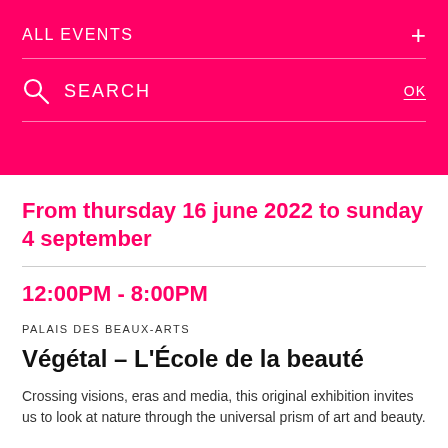ALL EVENTS
SEARCH  OK
From thursday 16 june 2022 to sunday 4 september
12:00PM - 8:00PM
PALAIS DES BEAUX-ARTS
Végétal – L'École de la beauté
Crossing visions, eras and media, this original exhibition invites us to look at nature through the universal prism of art and beauty.